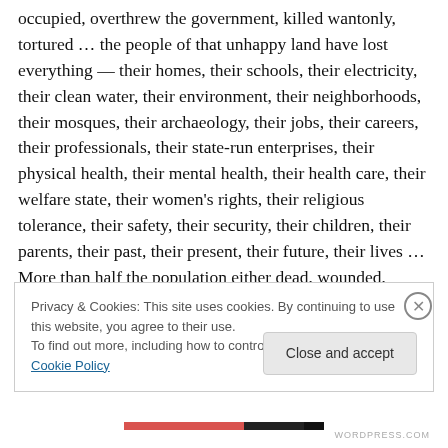occupied, overthrew the government, killed wantonly, tortured … the people of that unhappy land have lost everything — their homes, their schools, their electricity, their clean water, their environment, their neighborhoods, their mosques, their archaeology, their jobs, their careers, their professionals, their state-run enterprises, their physical health, their mental health, their health care, their welfare state, their women's rights, their religious tolerance, their safety, their security, their children, their parents, their past, their present, their future, their lives … More than half the population either dead, wounded,
Privacy & Cookies: This site uses cookies. By continuing to use this website, you agree to their use.
To find out more, including how to control cookies, see here: Cookie Policy